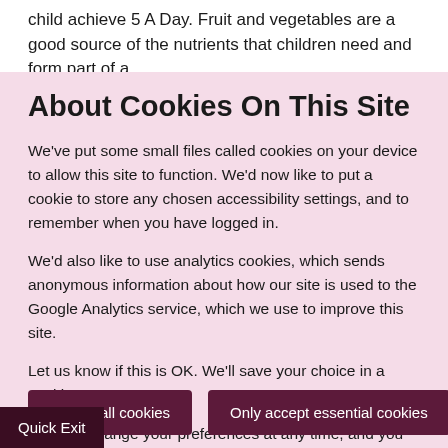child achieve 5 A Day. Fruit and vegetables are a good source of the nutrients that children need and form part of a
About Cookies On This Site
We've put some small files called cookies on your device to allow this site to function. We'd now like to put a cookie to store any chosen accessibility settings, and to remember when you have logged in.
We'd also like to use analytics cookies, which sends anonymous information about how our site is used to the Google Analytics service, which we use to improve this site.
Let us know if this is OK. We'll save your choice in a cookie.
You can change your preferences at any time, and you can read more about our cookies before you choose.